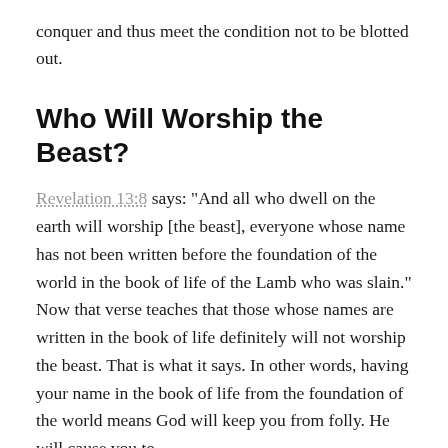conquer and thus meet the condition not to be blotted out.
Who Will Worship the Beast?
Revelation 13:8 says: “And all who dwell on the earth will worship [the beast], everyone whose name has not been written before the foundation of the world in the book of life of the Lamb who was slain.” Now that verse teaches that those whose names are written in the book of life definitely will not worship the beast. That is what it says. In other words, having your name in the book of life from the foundation of the world means God will keep you from folly. He will cause you to